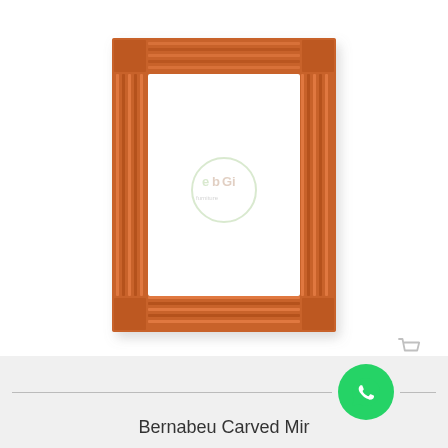[Figure (photo): A rectangular carved wooden mirror frame with a warm brown/orange finish, ornate ribbed/fluted pattern on all four sides. The frame has a classical decorative style. A watermark logo reading 'ebgi' appears in the center of the mirror glass area.]
[Figure (logo): WhatsApp green circular button with white phone handset icon]
Bernabeu Carved Mir